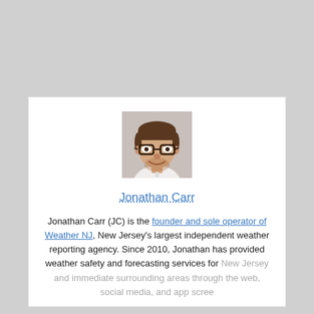[Figure (photo): Headshot photo of Jonathan Carr, a man with glasses and short dark hair, wearing a white shirt, smiling.]
Jonathan Carr
Jonathan Carr (JC) is the founder and sole operator of Weather NJ, New Jersey's largest independent weather reporting agency. Since 2010, Jonathan has provided weather safety and forecasting services for New Jersey and immediate surrounding areas through the web, social media, and app screens